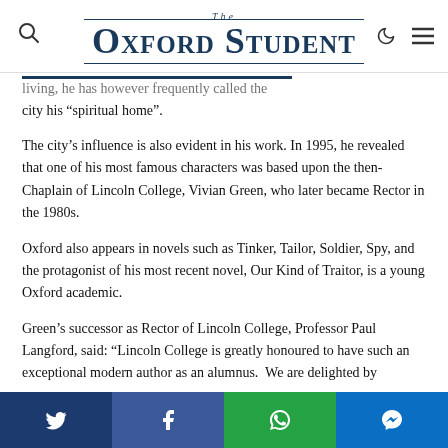The Oxford Student
city his “spiritual home”.
The city’s influence is also evident in his work. In 1995, he revealed that one of his most famous characters was based upon the then-Chaplain of Lincoln College, Vivian Green, who later became Rector in the 1980s.
Oxford also appears in novels such as Tinker, Tailor, Soldier, Spy, and the protagonist of his most recent novel, Our Kind of Traitor, is a young Oxford academic.
Green’s successor as Rector of Lincoln College, Professor Paul Langford, said: “Lincoln College is greatly honoured to have such an exceptional modern author as an alumnus.  We are delighted by
Share buttons: Twitter, Facebook, WhatsApp, Messenger